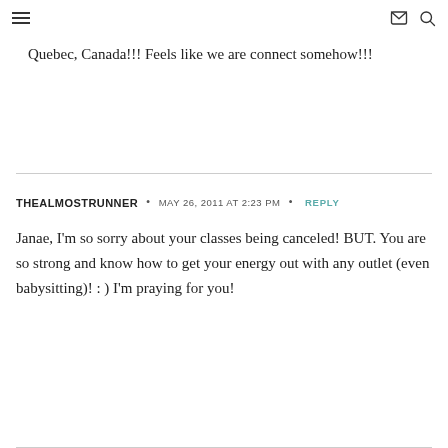≡  ✉  🔍
Quebec, Canada!!! Feels like we are connect somehow!!!
THEALMOSTRUNNER · MAY 26, 2011 AT 2:23 PM · REPLY
Janae, I'm so sorry about your classes being canceled! BUT. You are so strong and know how to get your energy out with any outlet (even babysitting)! : ) I'm praying for you!